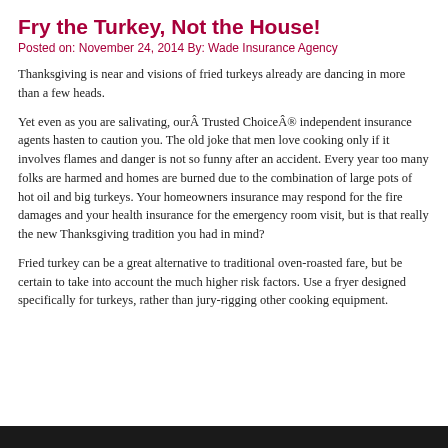Fry the Turkey, Not the House!
Posted on: November 24, 2014 By: Wade Insurance Agency
Thanksgiving is near and visions of fried turkeys already are dancing in more than a few heads.
Yet even as you are salivating, ourÂ Trusted ChoiceÂ® independent insurance agents hasten to caution you. The old joke that men love cooking only if it involves flames and danger is not so funny after an accident. Every year too many folks are harmed and homes are burned due to the combination of large pots of hot oil and big turkeys. Your homeowners insurance may respond for the fire damages and your health insurance for the emergency room visit, but is that really the new Thanksgiving tradition you had in mind?
Fried turkey can be a great alternative to traditional oven-roasted fare, but be certain to take into account the much higher risk factors. Use a fryer designed specifically for turkeys, rather than jury-rigging other cooking equipment.